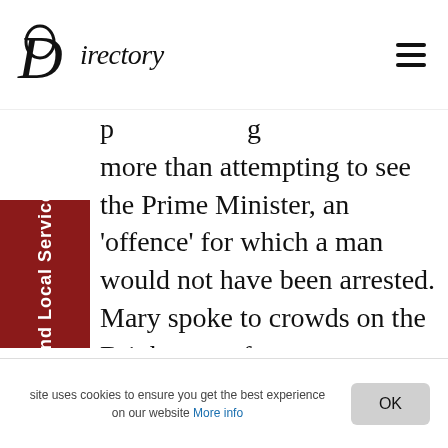Directory
more than attempting to see the Prime Minister, an 'offence' for which a man would not have been arrested. Mary spoke to crowds on the Brighton seafront on an almost daily basis and was reported to handle what Sylvia Pankhurst called "Brighton rowdies" with calm good humour and wit. Suffragette Joan Dugdale recalled how each evening she would address several hundred members of the
Find Local Services
site uses cookies to ensure you get the best experience on our website More info
OK